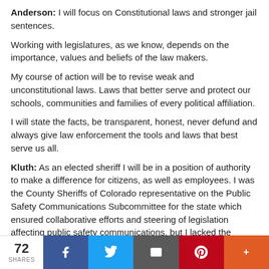Anderson: I will focus on Constitutional laws and stronger jail sentences.
Working with legislatures, as we know, depends on the importance, values and beliefs of the law makers.
My course of action will be to revise weak and unconstitutional laws. Laws that better serve and protect our schools, communities and families of every political affiliation.
I will state the facts, be transparent, honest, never defund and always give law enforcement the tools and laws that best serve us all.
Kluth: As an elected sheriff I will be in a position of authority to make a difference for citizens, as well as employees. I was the County Sheriffs of Colorado representative on the Public Safety Communications Subcommittee for the state which ensured collaborative efforts and steering of legislation affecting public safety communications, but I lacked the authority to stand on my own position. If elected I would partner with other conservative sheriffs to take stands against
72 SHARES